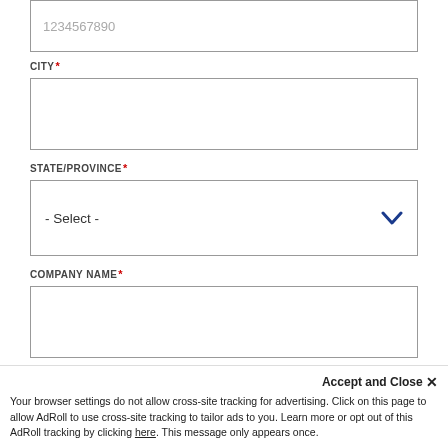1234567890
CITY*
STATE/PROVINCE*
- Select -
COMPANY NAME*
PRODUCT/CATEGORY OF INTEREST*
- Select -
Accept and Close ✕
Your browser settings do not allow cross-site tracking for advertising. Click on this page to allow AdRoll to use cross-site tracking to tailor ads to you. Learn more or opt out of this AdRoll tracking by clicking here. This message only appears once.